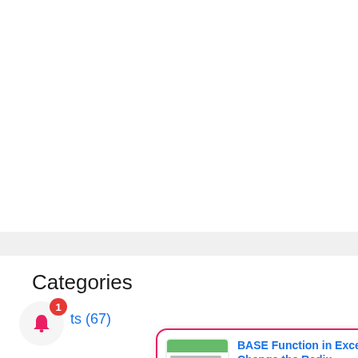Categories
ts (67)
Functions (248)
[Figure (screenshot): Notification popup showing 'BASE Function in Excel - Change the Radix' posted 1 day ago, with a thumbnail preview of the article and a close button]
BASE Function in Excel - Change the Radix
1 day ago